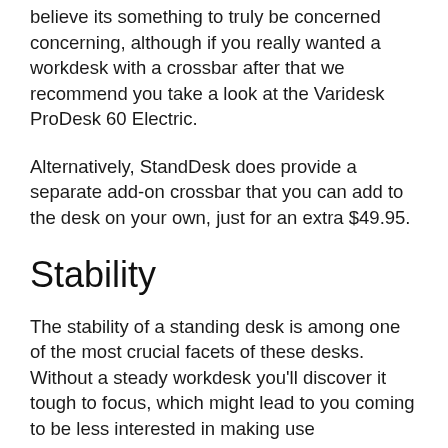believe its something to truly be concerned concerning, although if you really wanted a workdesk with a crossbar after that we recommend you take a look at the Varidesk ProDesk 60 Electric.
Alternatively, StandDesk does provide a separate add-on crossbar that you can add to the desk on your own, just for an extra $49.95.
Stability
The stability of a standing desk is among one of the most crucial facets of these desks. Without a steady workdesk you'll discover it tough to focus, which might lead to you coming to be less interested in making use